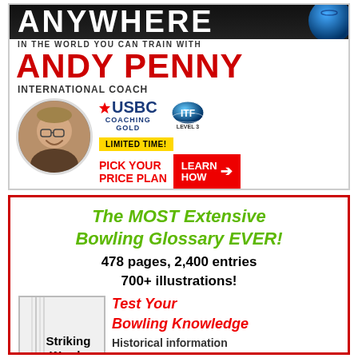[Figure (infographic): Advertisement for Andy Penny international bowling coach. Shows text ANYWHERE IN THE WORLD YOU CAN TRAIN WITH ANDY PENNY, INTERNATIONAL COACH, USBC COACHING GOLD logo, ITF LEVEL 3 logo, LIMITED TIME! badge, PICK YOUR PRICE PLAN text, LEARN HOW button with arrow, and a circular profile photo of Andy Penny.]
[Figure (infographic): Advertisement for The MOST Extensive Bowling Glossary EVER! with text: 478 pages, 2,400 entries, 700+ illustrations! Shows book cover 'Striking Words', Test Your Bowling Knowledge, Historical information.]